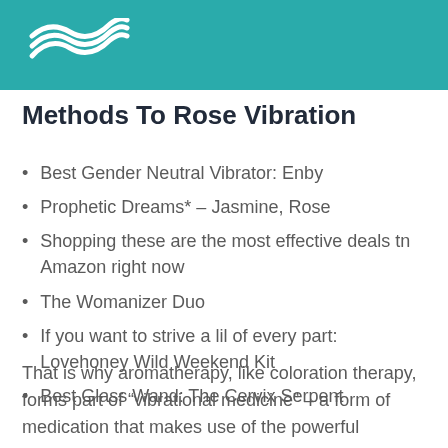[Figure (logo): White wave/swoosh logo on teal background header bar]
Methods To Rose Vibration
Best Gender Neutral Vibrator: Enby
Prophetic Dreams* – Jasmine, Rose
Shopping ohese are the most effective deals nn Amazon right now
The Womanizer Duo
If you want to strive a lil of every part: Lovehoney Wild Weekend Kit
Best Glass Wand: The Cervix Serpent
That is why aromatherapy, like coloration therapy, forms part of “vibrational medicine” – a form of medication that makes use of the powerful